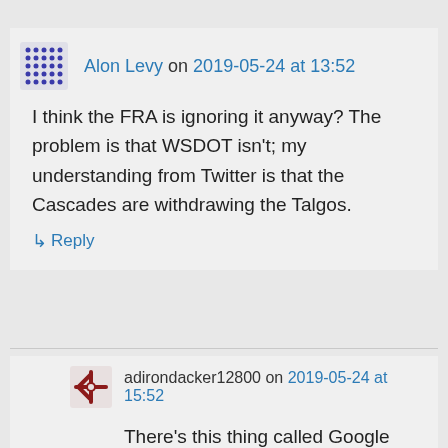Alon Levy on 2019-05-24 at 13:52
I think the FRA is ignoring it anyway? The problem is that WSDOT isn't; my understanding from Twitter is that the Cascades are withdrawing the Talgos.
↳ Reply
adirondacker12800 on 2019-05-24 at 15:52
There's this thing called Google search. It found the website for the Washington State Department of